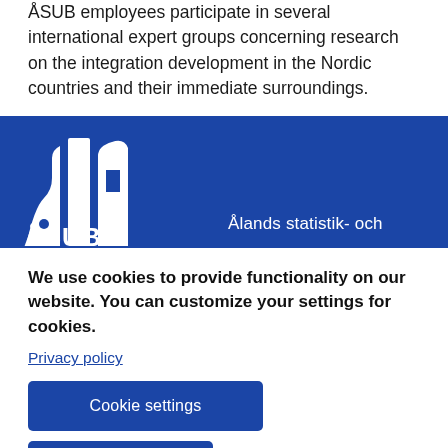ÅSUB employees participate in several international expert groups concerning research on the integration development in the Nordic countries and their immediate surroundings.
[Figure (logo): ÅSUB logo on blue banner background with white icon and partial text 'Ålands statistik- och']
We use cookies to provide functionality on our website. You can customize your settings for cookies.
Privacy policy
Cookie settings
Accept all